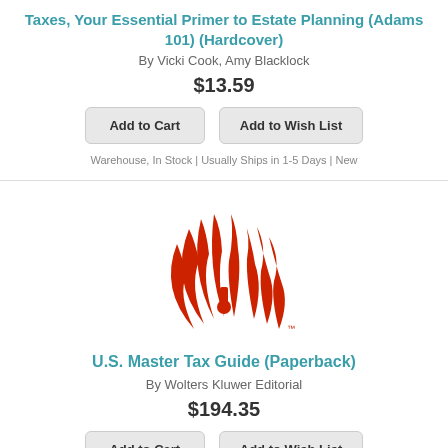Taxes, Your Essential Primer to Estate Planning (Adams 101) (Hardcover)
By Vicki Cook, Amy Blacklock
$13.59
Add to Cart | Add to Wish List
Warehouse, In Stock | Usually Ships in 1-5 Days | New
[Figure (logo): Wolters Kluwer red flame/wing logo with letter i]
U.S. Master Tax Guide (Paperback)
By Wolters Kluwer Editorial
$194.35
Add to Cart | Add to Wish List